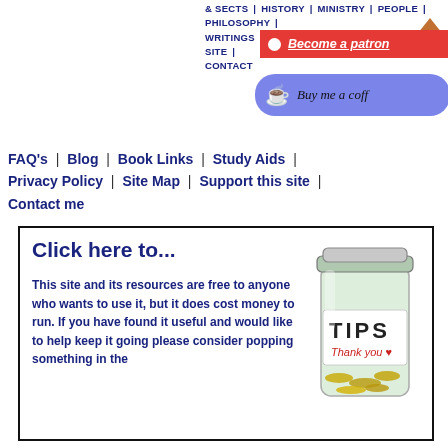& SECTS | HISTORY | MINISTRY | PEOPLE | PHILOSOPHY | WRITINGS | STUDY AIDS | BLOG | SUPPORT SITE | CONTACT
[Figure (other): Patreon become a patron red button with white dot icon]
[Figure (other): Buy me a coffee purple rounded button with coffee cup emoji]
FAQ's | Blog | Book Links | Study Aids | Privacy Policy | Site Map | Support this site | Contact me
[Figure (photo): A glass jar labeled TIPS with Thank you heart written in red, filled with coins]
Click here to...
This site and its resources are free to anyone who wants to use it, but it does cost money to run. If you have found it useful and would like to help keep it going please consider popping something in the